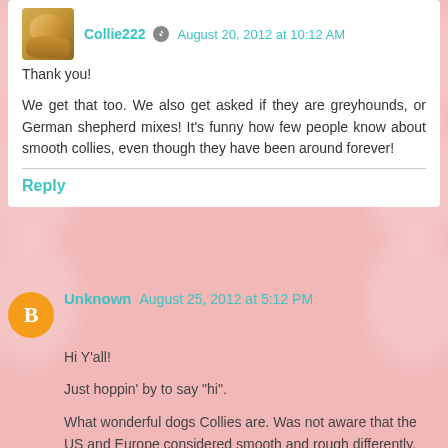Collie222 August 20, 2012 at 10:12 AM
Thank you!
We get that too. We also get asked if they are greyhounds, or German shepherd mixes! It's funny how few people know about smooth collies, even though they have been around forever!
Reply
Unknown August 25, 2012 at 5:12 PM
Hi Y'all!
Just hoppin' by to say "hi".
What wonderful dogs Collies are. Was not aware that the US and Europe considered smooth and rough differently.
Y'all come by now,